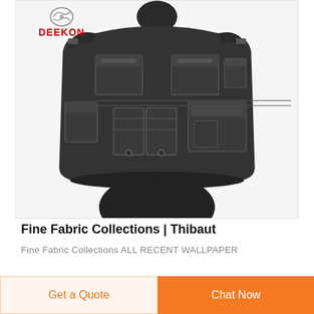[Figure (photo): Black tactical/ballistic vest with multiple MOLLE pouches, magazine pouches, and utility pouches shown on a mannequin torso. DEEKON brand logo visible in the top-left corner of the image.]
Fine Fabric Collections | Thibaut
Fine Fabric Collections  ALL  RECENT  WALLPAPER
Get a Quote
Chat Now